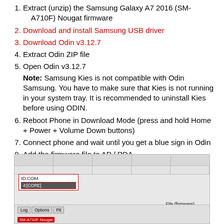1. Extract (unzip) the Samsung Galaxy A7 2016 (SM-A710F) Nougat firmware
2. Download and install Samsung USB driver
3. Download Odin v3.12.7
4. Extract Odin ZIP file
5. Open Odin v3.12.7
Note: Samsung Kies is not compatible with Odin Samsung. You have to make sure that Kies is not running in your system tray. It is recommended to uninstall Kies before using ODIN.
6. Reboot Phone in Download Mode (press and hold Home + Power + Volume Down buttons)
7. Connect phone and wait until you get a blue sign in Odin
8. Add the firmware file to AP / PDA
[Figure (screenshot): Screenshot of Odin v3.12.7 flashing tool interface showing log area, EF_COM section with red border, and bottom toolbar with Log, Options, Pit buttons and File (firmware) section]